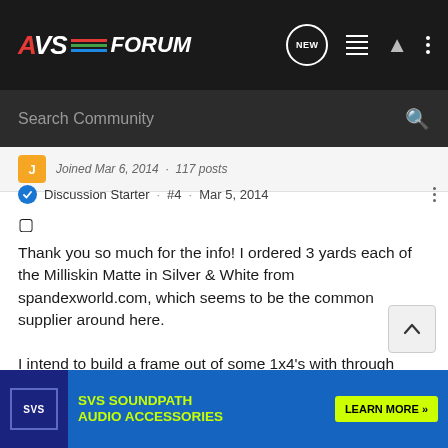AVS FORUM
Search Community
Joined Mar 6, 2014 · 117 posts
Discussion Starter · #4 · Mar 5, 2014
Thank you so much for the info! I ordered 3 yards each of the Milliskin Matte in Silver & White from spandexworld.com, which seems to be the common supplier around here.

I intend to build a frame out of some 1x4's with through mortise & tenon joints, I've heard good things about "screen tight" for holding the stretched fabric, we'll see how it goes... hopefully in a week's time I'll have a beautiful new screen.

I think I'... worst case sc... a 120"
[Figure (screenshot): SVS SoundPath Audio Accessories advertisement banner with Learn More button]